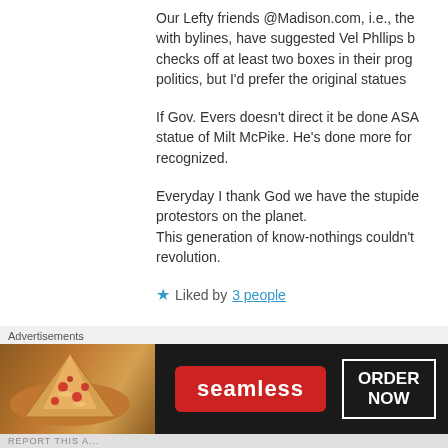Our Lefty friends @Madison.com, i.e., the with bylines, have suggested Vel Phllips b checks off at least two boxes in their prog politics, but I'd prefer the original statues
If Gov. Evers doesn't direct it be done ASA statue of Milt McPike. He's done more for recognized.
Everyday I thank God we have the stupide protestors on the planet. This generation of know-nothings couldn't revolution.
★ Liked by 3 people
[Figure (other): Seamless food delivery advertisement banner showing pizza image on left, red Seamless logo button in center, and ORDER NOW button on right, on dark background]
Advertisements